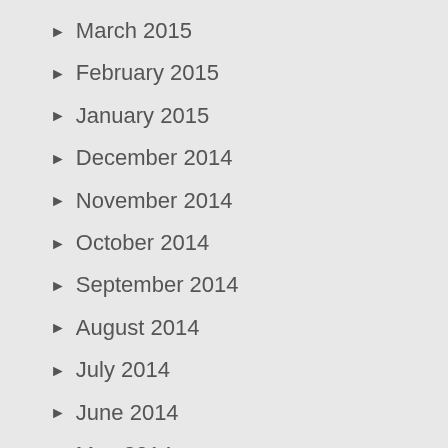March 2015
February 2015
January 2015
December 2014
November 2014
October 2014
September 2014
August 2014
July 2014
June 2014
May 2014
April 2014
February 2014